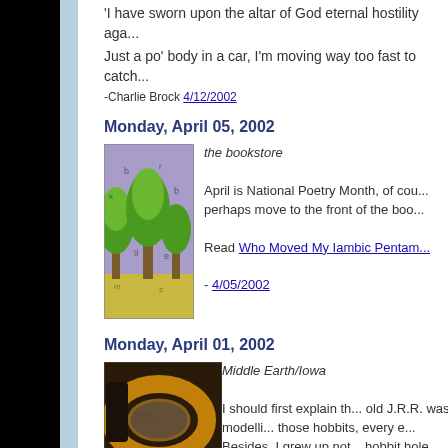'I have sworn upon the altar of God eternal hostility aga...
Just a po' body in a car, I'm moving way too fast to catch...
-Charlie Brock 4/12/2002
Monday, April 05, 2002
[Figure (illustration): Colorful illustration of trees and foliage in a bookstore motif]
the bookstore
April is National Poetry Month, of cou... perhaps move to the front of the boo...
Read Who Moved My Iambic Pentam...
- 4/05/2002
Monday, April 01, 2002
[Figure (photo): Lord of the Rings movie poster showing the One Ring and a map of Middle Earth]
Middle Earth/Iowa
I should first explain th... old J.R.R. was modelli... those hobbits, every e... Besides, I grew up not... hobbit hole than anyth... they're a tale well told,...